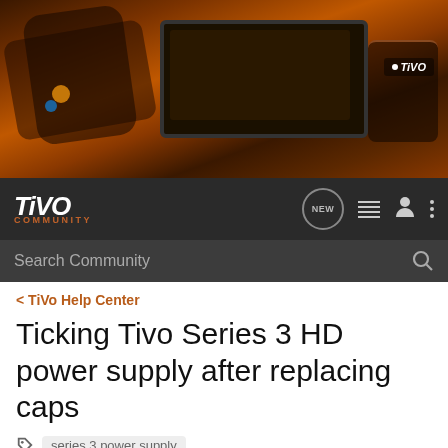[Figure (screenshot): TiVo Community forum website header with hero image showing TiVo remote and device on orange/brown background]
TiVo COMMUNITY
Search Community
< TiVo Help Center
Ticking Tivo Series 3 HD power supply after replacing caps
series 3 power supply
→ Jump to Latest
+ Follow
1 - 14 of 14 Posts